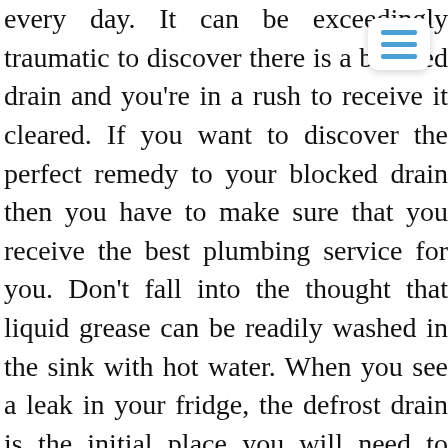every day. It can be exceedingly traumatic to discover there is a blocked drain and you're in a rush to receive it cleared. If you want to discover the perfect remedy to your blocked drain then you have to make sure that you receive the best plumbing service for you. Don't fall into the thought that liquid grease can be readily washed in the sink with hot water. When you see a leak in your fridge, the defrost drain is the initial place you will need to check Hounslow, Lampton, TW3. To do so, you want to learn what may make your refrigerator leak, which portions of the appliance you should examine to work out where the water comes from, and the way to repair the situation. You may not even take note you have a water leak or burst pipe till you get a hefty bill for excess water usage. Plumbing isn't an effortless process for the reason that it involves plenty of work and a great deal of